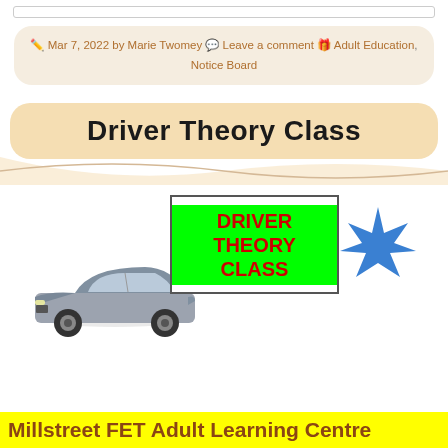Mar 7, 2022 by Marie Twomey 💬 Leave a comment 🎁 Adult Education, Notice Board
Driver Theory Class
[Figure (infographic): Driver Theory Class promotional image with a green background text box reading 'DRIVER THEORY CLASS' in red bold text, a silver Mercedes car image on the left, and a blue starburst shape on the right.]
Millstreet FET Adult Learning Centre